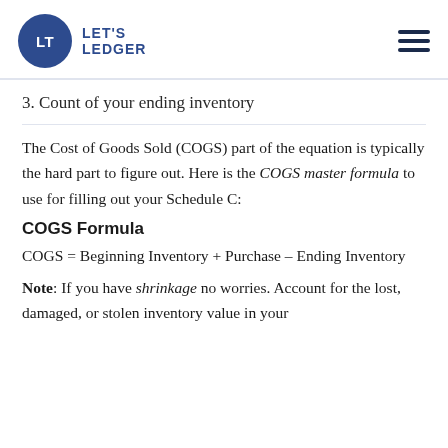LT LET'S LEDGER [hamburger menu]
3. Count of your ending inventory
The Cost of Goods Sold (COGS) part of the equation is typically the hard part to figure out. Here is the COGS master formula to use for filling out your Schedule C:
COGS Formula
Note: If you have shrinkage no worries. Account for the lost, damaged, or stolen inventory value in your